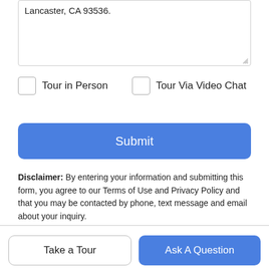Lancaster, CA 93536.
Tour in Person
Tour Via Video Chat
Submit
Disclaimer: By entering your information and submitting this form, you agree to our Terms of Use and Privacy Policy and that you may be contacted by phone, text message and email about your inquiry.
© 2022 Empire Access Multiple Listing Service, Inc. All rights reserved. IDX information is provided exclusively for consumers' personal, non-commercial use and may not be used for any
Take a Tour
Ask A Question